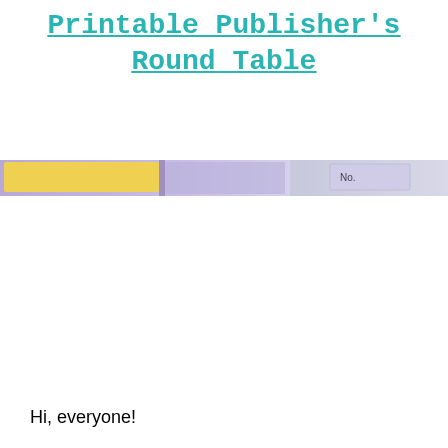Printable Publisher's Round Table
[Figure (screenshot): A partial banner/screenshot strip showing a webpage or document interface with purple/lavender gradient background, a yellow element on the left, and small text visible on the right side.]
Hi, everyone!